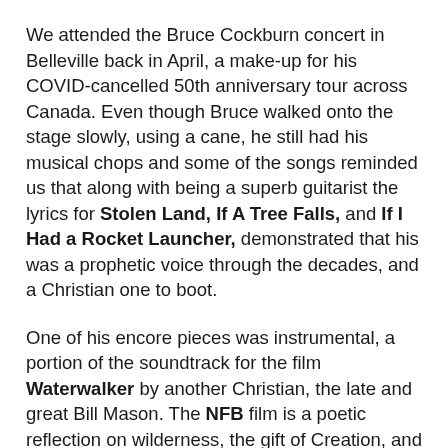We attended the Bruce Cockburn concert in Belleville back in April, a make-up for his COVID-cancelled 50th anniversary tour across Canada. Even though Bruce walked onto the stage slowly, using a cane, he still had his musical chops and some of the songs reminded us that along with being a superb guitarist the lyrics for Stolen Land, If A Tree Falls, and If I Had a Rocket Launcher, demonstrated that his was a prophetic voice through the decades, and a Christian one to boot.
One of his encore pieces was instrumental, a portion of the soundtrack for the film Waterwalker by another Christian, the late and great Bill Mason. The NFB film is a poetic reflection on wilderness, the gift of Creation, and the canoe, which Mason considered the perfect watercraft. In the same decades we were Cockburn fans we learned from Bill Mason about the craft of canoeing and canoe tripping through his instructional films. In Waterwalker, which is nigh on 40 years old, Mason upholds Indigenous spirituality and sneaks in some Christian reflections about "walking on water" to make a difference in a world suffering from human degradation